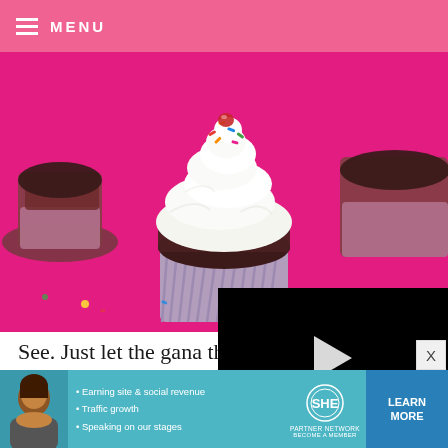MENU
[Figure (photo): Close-up photo of a chocolate cupcake with white swirled frosting and colorful sprinkles in a pink/purple ribbed cupcake liner, on a bright pink background with more cupcakes in the background]
[Figure (screenshot): Black video player overlay with play button, progress bar, and controls showing 00:00]
See. Just let the gana... the cups and spoon a... cupcake. Let it set a... harden a bit and make adding the frosting easier.
[Figure (infographic): SHE Partner Network advertisement banner: Earning site & social revenue, Traffic growth, Speaking on our stages. LEARN MORE button.]